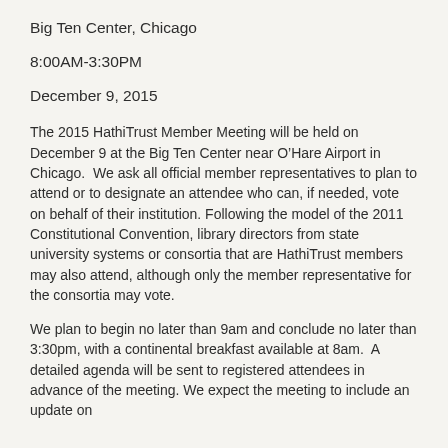Big Ten Center, Chicago
8:00AM-3:30PM
December 9, 2015
The 2015 HathiTrust Member Meeting will be held on December 9 at the Big Ten Center near O’Hare Airport in Chicago.  We ask all official member representatives to plan to attend or to designate an attendee who can, if needed, vote on behalf of their institution. Following the model of the 2011 Constitutional Convention, library directors from state university systems or consortia that are HathiTrust members may also attend, although only the member representative for the consortia may vote.
We plan to begin no later than 9am and conclude no later than 3:30pm, with a continental breakfast available at 8am.  A detailed agenda will be sent to registered attendees in advance of the meeting. We expect the meeting to include an update on